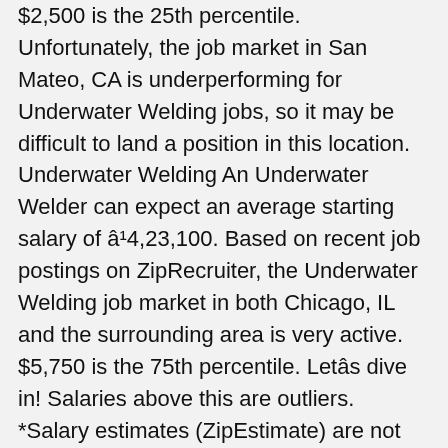$2,500 is the 25th percentile. Unfortunately, the job market in San Mateo, CA is underperforming for Underwater Welding jobs, so it may be difficult to land a position in this location. Underwater Welding An Underwater Welder can expect an average starting salary of â¹4,23,100. Based on recent job postings on ZipRecruiter, the Underwater Welding job market in both Chicago, IL and the surrounding area is very active. $5,750 is the 75th percentile. Letâs dive in! Salaries above this are outliers. *Salary estimates (ZipEstimate) are not verified by employers; actual compensation can vary considerably. How Much is an Underwater Welding Salary? An entry level underwater welder (1-3 years of experience) earns an average salary of ¥7,971,657. The average salary for an Underwater Welder is â¹6,18,900 per year (â¹33,520 per month), which is â¹2,31,400 (+60%) higher than the national average salary in India. The annual salary for underwater welders ranges from $20,000 to $100,000+ per year. The possibility of a lower cost of living may be the best factor to use when considering location and salary for an Underwater Welding role. As of Dec 6, 2020, the average annual